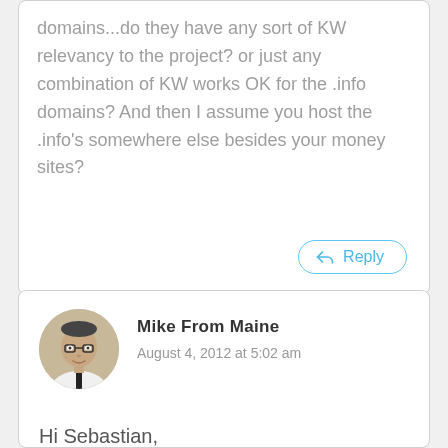domains...do they have any sort of KW relevancy to the project? or just any combination of KW works OK for the .info domains? And then I assume you host the .info's somewhere else besides your money sites?
Reply
Mike From Maine
August 4, 2012 at 5:02 am
Hi Sebastian,
It doesn't matter what the .info domains are because they will never be connected to any of your domains. Just